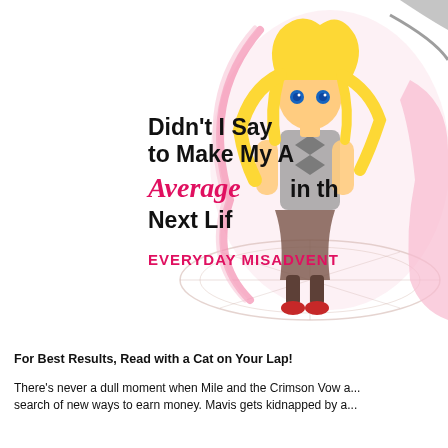[Figure (illustration): Manga/anime style cover art for 'Didn't I Say to Make My Abilities Average in the Next Life?! Everyday Misadventures'. Shows a blonde female character in armor with large text title overlay on a white/pink background. Title text reads: 'Didn't I Say to Make My Average in the Next Li...' with 'Average' in pink cursive and 'EVERYDAY MISADVENT...' in pink block letters at bottom.]
For Best Results, Read with a Cat on Your Lap!
There's never a dull moment when Mile and the Crimson Vow a... search of new ways to earn money. Mavis gets kidnapped by a...